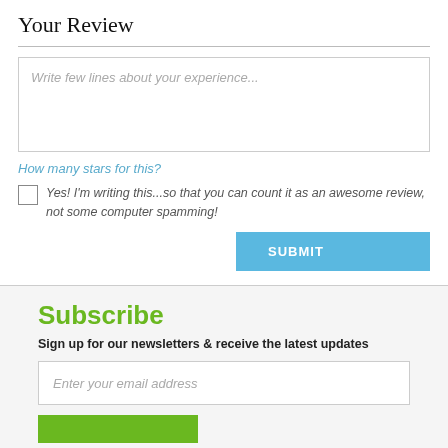Your Review
Write few lines about your experience...
How many stars for this?
Yes! I'm writing this...so that you can count it as an awesome review, not some computer spamming!
SUBMIT
Subscribe
Sign up for our newsletters & receive the latest updates
Enter your email address